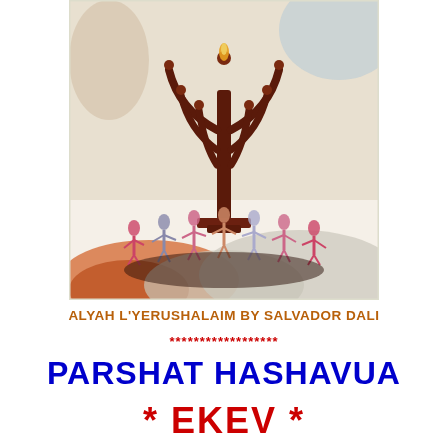[Figure (illustration): Painting by Salvador Dali titled 'Alyah L'Yerushalaim' showing a menorah (seven-branched candelabra) in dark reddish-brown with figures dancing in a circle beneath it, on a light background with blue and orange/red accents at the bottom.]
ALYAH L'YERUSHALAIM BY SALVADOR DALI
******************
PARSHAT HASHAVUA
* EKEV *